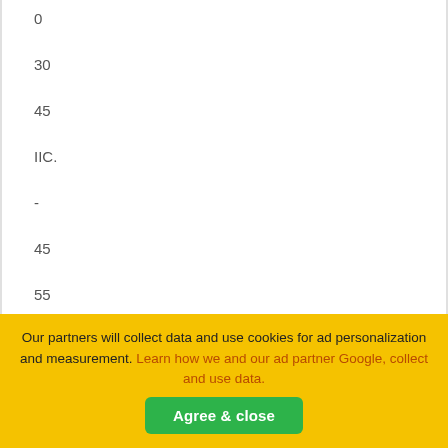0
30
45
IIC.
-
45
55
III.
58
44
Our partners will collect data and use cookies for ad personalization and measurement. Learn how we and our ad partner Google, collect and use data.
Agree & close